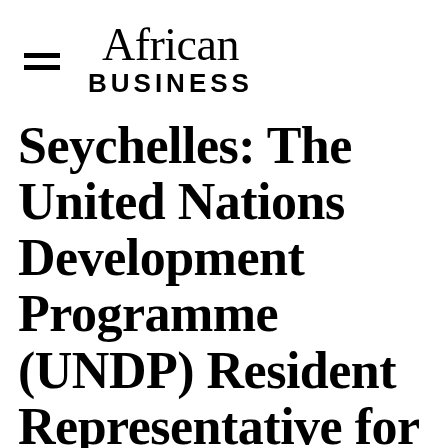African Business
Seychelles: The United Nations Development Programme (UNDP) Resident Representative for